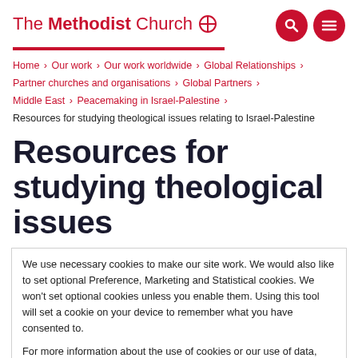The Methodist Church
Home › Our work › Our work worldwide › Global Relationships › Partner churches and organisations › Global Partners › Middle East › Peacemaking in Israel-Palestine › Resources for studying theological issues relating to Israel-Palestine
Resources for studying theological issues
We use necessary cookies to make our site work. We would also like to set optional Preference, Marketing and Statistical cookies. We won't set optional cookies unless you enable them. Using this tool will set a cookie on your device to remember what you have consented to.
For more information about the use of cookies or our use of data, see our Cookie Notice or Privacy Notice.
Powered by CookieScan